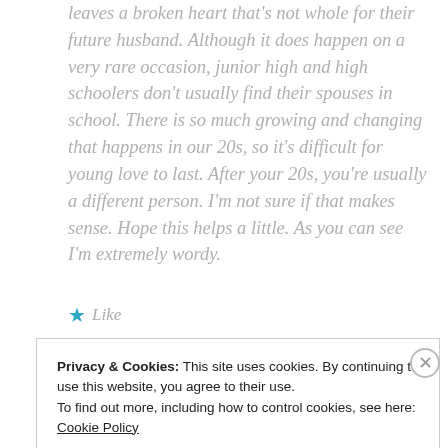leaves a broken heart that's not whole for their future husband. Although it does happen on a very rare occasion, junior high and high schoolers don't usually find their spouses in school. There is so much growing and changing that happens in our 20s, so it's difficult for young love to last. After your 20s, you're usually a different person. I'm not sure if that makes sense. Hope this helps a little. As you can see I'm extremely wordy.
★ Like
Privacy & Cookies: This site uses cookies. By continuing to use this website, you agree to their use. To find out more, including how to control cookies, see here: Cookie Policy
Close and accept